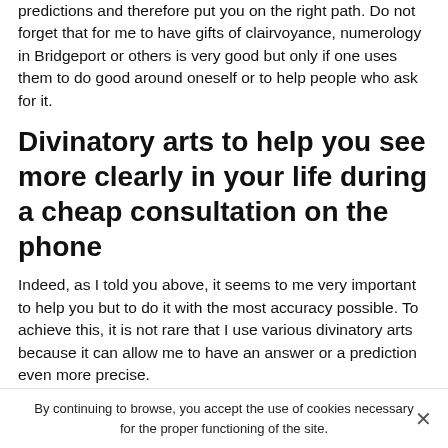predictions and therefore put you on the right path. Do not forget that for me to have gifts of clairvoyance, numerology in Bridgeport or others is very good but only if one uses them to do good around oneself or to help people who ask for it.
Divinatory arts to help you see more clearly in your life during a cheap consultation on the phone
Indeed, as I told you above, it seems to me very important to help you but to do it with the most accuracy possible. To achieve this, it is not rare that I use various divinatory arts because it can allow me to have an answer or a prediction even more precise.
Among the divinatory arts that I master, there are the various decks of cards such as the famous Tarot cards that
By continuing to browse, you accept the use of cookies necessary for the proper functioning of the site.